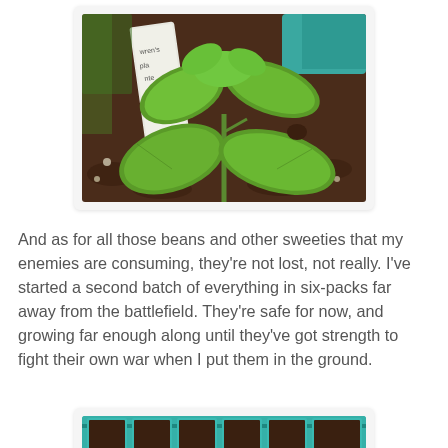[Figure (photo): A young green plant seedling growing in dark soil/mulch, with a white plant label stake visible on the left showing handwritten text. The plant has several broad green leaves. A teal/cyan colored object is visible in the background upper right.]
And as for all those beans and other sweeties that my enemies are consuming, they're not lost, not really. I've started a second batch of everything in six-packs far away from the battlefield. They're safe for now, and growing far enough along until they've got strength to fight their own war when I put them in the ground.
[Figure (photo): Partial view of six-pack seedling trays with teal/cyan colored plastic trays filled with dark soil, shown at the bottom of the page.]